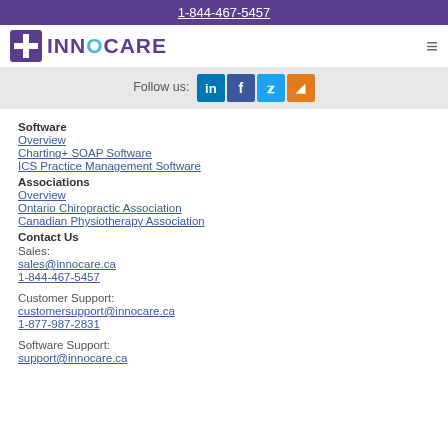1-844-467-5457
[Figure (logo): InnoCare logo with purple cross icon and teal C in INNOCARE]
Follow us:
Software
Overview
Charting+ SOAP Software
ICS Practice Management Software
Associations
Overview
Ontario Chiropractic Association
Canadian Physiotherapy Association
Contact Us
Sales:
sales@innocare.ca
1-844-467-5457
Customer Support:
customersupport@innocare.ca
1-877-987-2831
Software Support:
support@innocare.ca